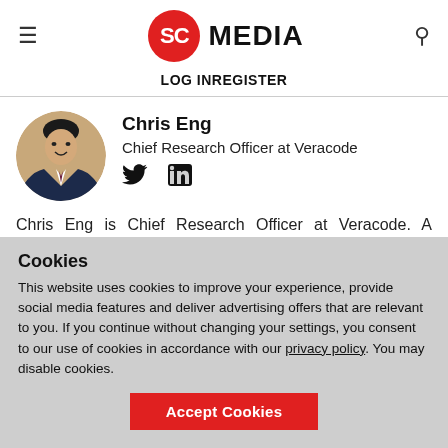SC MEDIA | LOG IN | REGISTER
[Figure (photo): Circular profile photo of Chris Eng, a man in a suit smiling]
Chris Eng
Chief Research Officer at Veracode
[Figure (other): Twitter and LinkedIn social media icons]
Chris Eng is Chief Research Officer at Veracode. A founding member of the Veracode team, he is responsible for all research initiatives including applied research and product security. Chris is a
Cookies
This website uses cookies to improve your experience, provide social media features and deliver advertising offers that are relevant to you. If you continue without changing your settings, you consent to our use of cookies in accordance with our privacy policy. You may disable cookies.
Accept Cookies